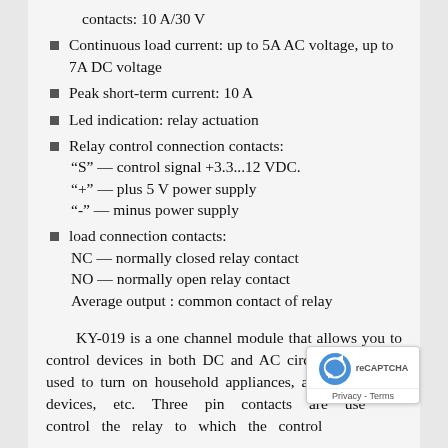contacts: 10 A/30 V
Continuous load current: up to 5A AC voltage, up to 7A DC voltage
Peak short-term current: 10 A
Led indication: relay actuation
Relay control connection contacts:
“S” — control signal +3.3...12 VDC.
“+” — plus 5 V power supply
“-” — minus power supply
load connection contacts:
NC — normally closed relay contact
NO — normally open relay contact
Average output : common contact of relay
KY-019 is a one channel module that allows you to control devices in both DC and AC circuits. It can be used to turn on household appliances, alarms, lighting devices, etc. Three pin contacts are used to control the relay to which the control